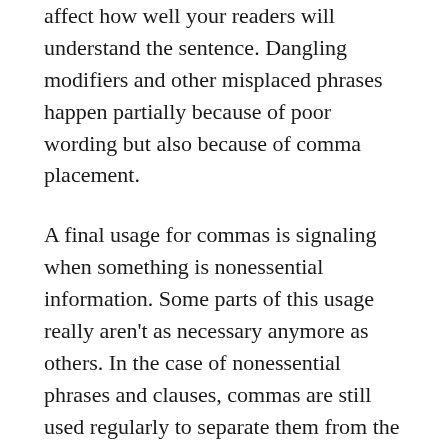affect how well your readers will understand the sentence. Dangling modifiers and other misplaced phrases happen partially because of poor wording but also because of comma placement.
A final usage for commas is signaling when something is nonessential information. Some parts of this usage really aren't as necessary anymore as others. In the case of nonessential phrases and clauses, commas are still used regularly to separate them from the sentence. It is normally easy to identify nonessential information because the sentence will still make sense without that clause or phrase.
When it comes to nonessential words, usage is much more spotty. I don't think many authors are worried